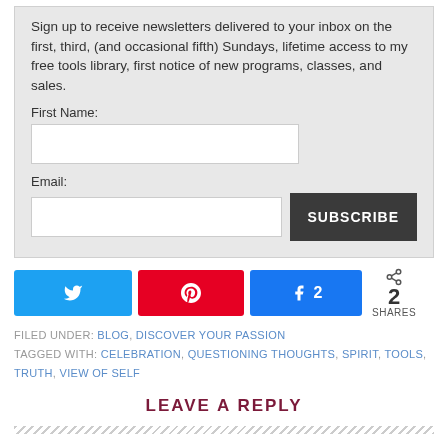Sign up to receive newsletters delivered to your inbox on the first, third, (and occasional fifth) Sundays, lifetime access to my free tools library, first notice of new programs, classes, and sales.
First Name:
Email:
[Figure (other): Social share buttons: Twitter, Pinterest, Facebook (2 shares), and a share count showing 2 SHARES]
FILED UNDER: BLOG, DISCOVER YOUR PASSION
TAGGED WITH: CELEBRATION, QUESTIONING THOUGHTS, SPIRIT, TOOLS, TRUTH, VIEW OF SELF
LEAVE A REPLY